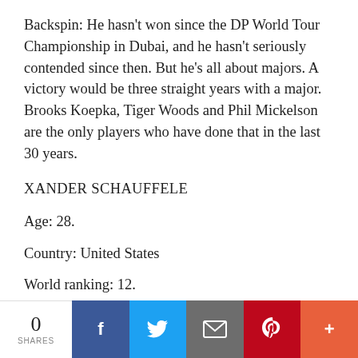Backspin: He hasn't won since the DP World Tour Championship in Dubai, and he hasn't seriously contended since then. But he's all about majors. A victory would be three straight years with a major. Brooks Koepka, Tiger Woods and Phil Mickelson are the only players who have done that in the last 30 years.
XANDER SCHAUFFELE
Age: 28.
Country: United States
World ranking: 12.
Majors: None.
Worldwide victories: 5.
0 SHARES | Facebook | Twitter | Email | Pinterest | More